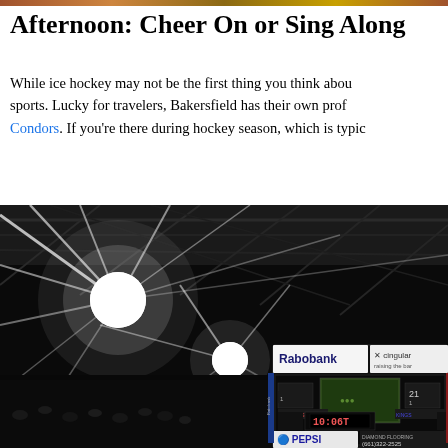Afternoon: Cheer On or Sing Along
While ice hockey may not be the first thing you think about sports. Lucky for travelers, Bakersfield has their own prof Condors. If you're there during hockey season, which is typi
[Figure (photo): Indoor hockey arena with bright spotlights blazing from the ceiling. A scoreboard in the lower right corner shows Rabobank and Cingular logos, scores, a game clock reading 10:06T, and PEPSI branding with phone number 661-322-2525. The arena is full of spectators.]